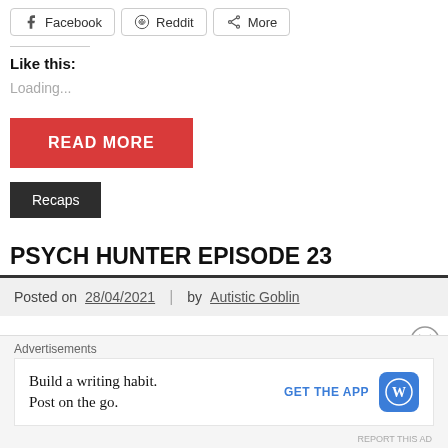[Figure (other): Social share buttons: Facebook, Reddit, More]
Like this:
Loading...
READ MORE
Recaps
PSYCH HUNTER EPISODE 23
Posted on 28/04/2021 | by Autistic Goblin
Advertisements
Build a writing habit. Post on the go.
GET THE APP